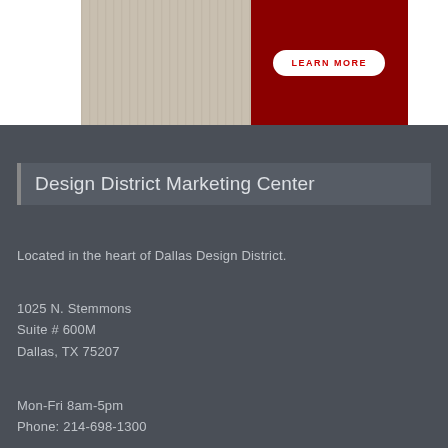[Figure (photo): Top banner image with two panels: left panel showing wood grain texture in beige/gray tones, right panel showing dark red/crimson fabric or background with a 'LEARN MORE' button in white with red text]
Design District Marketing Center
Located in the heart of Dallas Design District.
1025 N. Stemmons
Suite # 600M
Dallas, TX 75207
Mon-Fri 8am-5pm
Phone: 214-698-1300